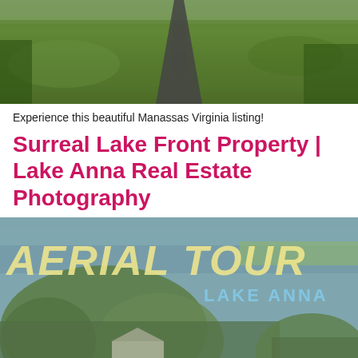[Figure (photo): Aerial photo of a rural property with a long paved driveway and green fields]
Experience this beautiful Manassas Virginia listing!
Surreal Lake Front Property | Lake Anna Real Estate Photography
[Figure (photo): Aerial tour photo of Lake Anna property with text overlays 'AERIAL TOUR' in yellow and 'LAKE ANNA' in blue, showing lake, trees, and lakefront house from above]